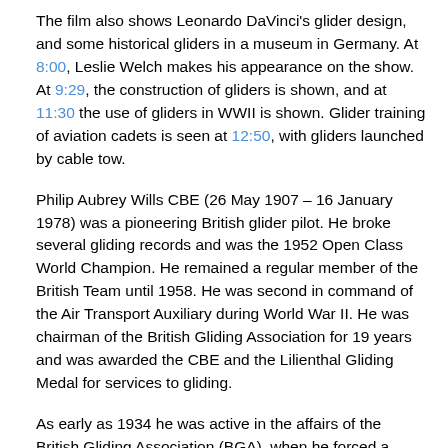The film also shows Leonardo DaVinci's glider design, and some historical gliders in a museum in Germany. At 8:00, Leslie Welch makes his appearance on the show. At 9:29, the construction of gliders is shown, and at 11:30 the use of gliders in WWII is shown. Glider training of aviation cadets is seen at 12:50, with gliders launched by cable tow.
Philip Aubrey Wills CBE (26 May 1907 – 16 January 1978) was a pioneering British glider pilot. He broke several gliding records and was the 1952 Open Class World Champion. He remained a regular member of the British Team until 1958. He was second in command of the Air Transport Auxiliary during World War II. He was chairman of the British Gliding Association for 19 years and was awarded the CBE and the Lilienthal Gliding Medal for services to gliding.
As early as 1934 he was active in the affairs of the British Gliding Association (BGA), when he forced a change in its constitution to ensure that it represented gliding clubs, not a small number of individual members. He was Chairman of the BGA for 19 years until the members felt that a change was needed. However, during his period in office, his connections ensured that British gliding was...